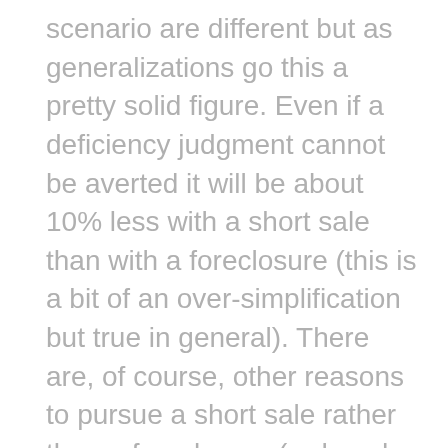scenario are different but as generalizations go this a pretty solid figure. Even if a deficiency judgment cannot be averted it will be about 10% less with a short sale than with a foreclosure (this is a bit of an over-simplification but true in general). There are, of course, other reasons to pursue a short sale rather than a foreclosure (reduced impact on credit, ability to obtain Fannie/Freddie loans again within two years vs. five years, etc.) and these should be considered as well. Is a short sale a "hassle"? Sure, most would